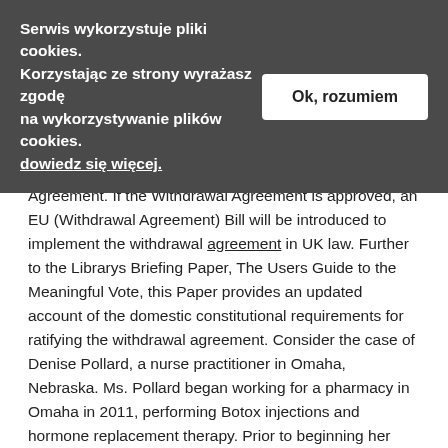Serwis wykorzystuje pliki cookies. Korzystając ze strony wyrażasz zgodę na wykorzystywanie plików cookies. dowiedz się więcej.
breaches of their rights under the Withdrawal Agreement, and report to the institutions overseeing the Withdrawal Agreement. If the Withdrawal Agreement is approved, an EU (Withdrawal Agreement) Bill will be introduced to implement the withdrawal agreement in UK law. Further to the Librarys Briefing Paper, The Users Guide to the Meaningful Vote, this Paper provides an updated account of the domestic constitutional requirements for ratifying the withdrawal agreement. Consider the case of Denise Pollard, a nurse practitioner in Omaha, Nebraska. Ms. Pollard began working for a pharmacy in Omaha in 2011, performing Botox injections and hormone replacement therapy. Prior to beginning her employment, Ms. Pollard signed an employment agreement containing a non-compete provision. Three years and over 400 patient later, Ms. Pollard was fired. Thereafter, she decided to